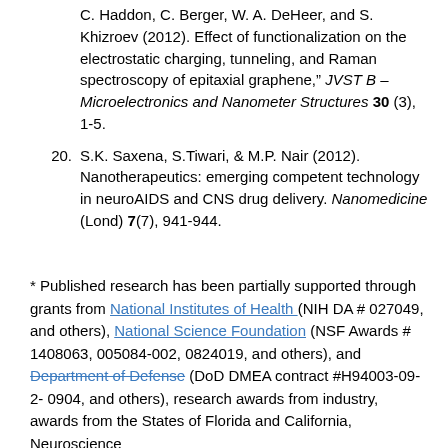C. Haddon, C. Berger, W. A. DeHeer, and S. Khizroev (2012). Effect of functionalization on the electrostatic charging, tunneling, and Raman spectroscopy of epitaxial graphene," JVST B – Microelectronics and Nanometer Structures 30 (3), 1-5.
20. S.K. Saxena, S.Tiwari, & M.P. Nair (2012). Nanotherapeutics: emerging competent technology in neuroAIDS and CNS drug delivery. Nanomedicine (Lond) 7(7), 941-944.
* Published research has been partially supported through grants from National Institutes of Health (NIH DA # 027049, and others), National Science Foundation (NSF Awards # 1408063, 005084-002, 0824019, and others), and Department of Defense (DoD DMEA contract #H94003-09-2-0904, and others), research awards from industry, awards from the States of Florida and California, Neuroscience